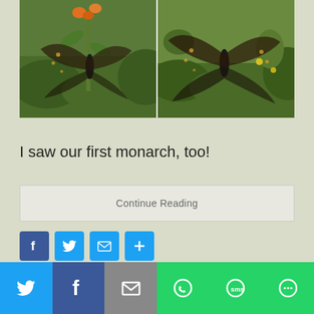[Figure (photo): Two side-by-side photos of a dark butterfly (black swallowtail) with wings spread in motion blur, surrounded by green garden plants and orange flowers]
I saw our first monarch, too!
Continue Reading
[Figure (infographic): Row of social share icon buttons: Facebook (blue f), Twitter (blue bird), Email (blue envelope), More (blue plus)]
[Figure (infographic): Bottom share bar with Twitter, Facebook, Email, WhatsApp, SMS, and More options]